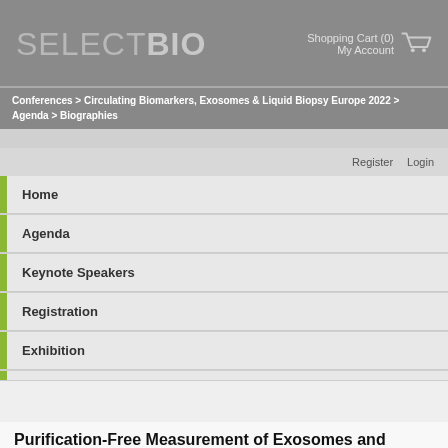SELECTBIO | Shopping Cart (0) | My Account
Conferences > Circulating Biomarkers, Exosomes & Liquid Biopsy Europe 2022 > Agenda > Biographies
Register   Login
Home
Agenda
Keynote Speakers
Registration
Exhibition
Venue
Training Courses
Purification-Free Measurement of Exosomes and